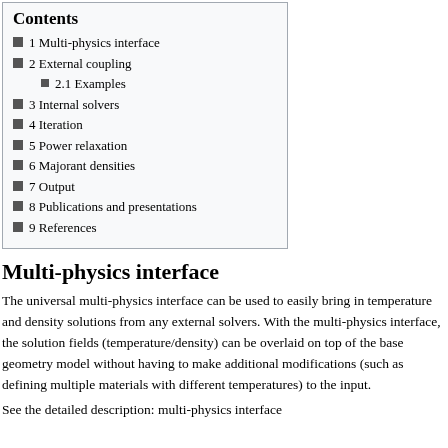Contents
1 Multi-physics interface
2 External coupling
2.1 Examples
3 Internal solvers
4 Iteration
5 Power relaxation
6 Majorant densities
7 Output
8 Publications and presentations
9 References
Multi-physics interface
The universal multi-physics interface can be used to easily bring in temperature and density solutions from any external solvers. With the multi-physics interface, the solution fields (temperature/density) can be overlaid on top of the base geometry model without having to make additional modifications (such as defining multiple materials with different temperatures) to the input.
See the detailed description: multi-physics interface